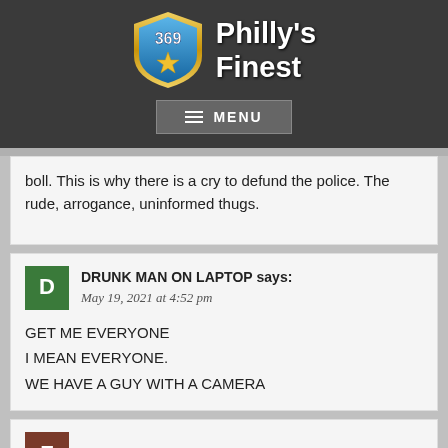[Figure (logo): Philly's Finest police badge logo with number 369 and a star, text 'Philly's Finest' in white bold font on dark header]
MENU
boll. This is why there is a cry to defund the police. The rude, arrogance, uninformed thugs.
DRUNK MAN ON LAPTOP says:
May 19, 2021 at 4:52 pm

GET ME EVERYONE
I MEAN EVERYONE.
WE HAVE A GUY WITH A CAMERA
FIFOU DUBLED says: